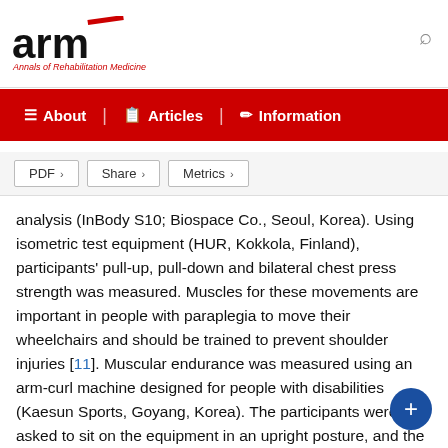ARM - Annals of Rehabilitation Medicine
About | Articles | Information
PDF > Share > Metrics >
analysis (InBody S10; Biospace Co., Seoul, Korea). Using isometric test equipment (HUR, Kokkola, Finland), participants' pull-up, pull-down and bilateral chest press strength was measured. Muscles for these movements are important in people with paraplegia to move their wheelchairs and should be trained to prevent shoulder injuries [11]. Muscular endurance was measured using an arm-curl machine designed for people with disabilities (Kaesun Sports, Goyang, Korea). The participants were asked to sit on the equipment in an upright posture, and the maximum weight that the participants could lift at a time (1RM) was measured. The load was then set to 60% of measured RM, and the participants were asked to perform elbow flexion and extension for 1 minute with this load. The maximum number of arm curls performed was documented